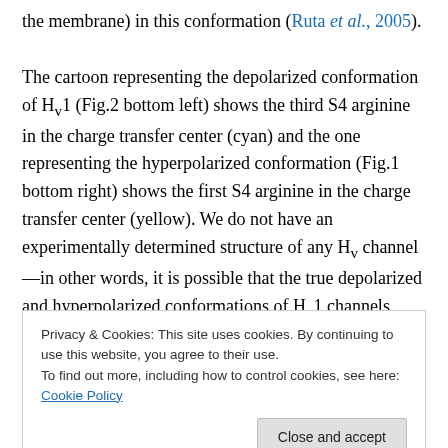the membrane) in this conformation (Ruta et al., 2005).
The cartoon representing the depolarized conformation of Hv1 (Fig.2 bottom left) shows the third S4 arginine in the charge transfer center (cyan) and the one representing the hyperpolarized conformation (Fig.1 bottom right) shows the first S4 arginine in the charge transfer center (yellow). We do not have an experimentally determined structure of any Hv channel—in other words, it is possible that the true depolarized and hyperpolarized conformations of Hv1 channels don't look anything like the cartoons shown in Fig.2. However, it is totally conceivable that the...
Privacy & Cookies: This site uses cookies. By continuing to use this website, you agree to their use.
To find out more, including how to control cookies, see here: Cookie Policy
Phe149 or Phe150 on S2 may form the phenylalanine gap